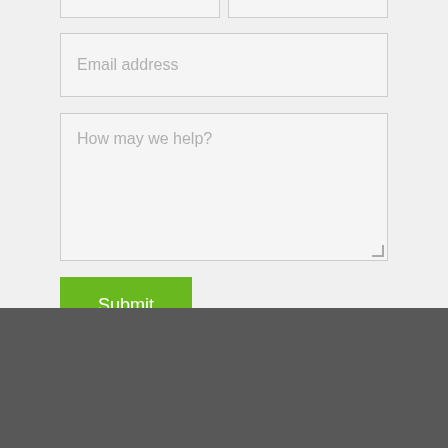[Figure (screenshot): Two half-width input fields at the top (partially visible, cropped)]
[Figure (screenshot): Email address input field with placeholder text]
[Figure (screenshot): How may we help? textarea with resize handle]
[Figure (screenshot): Green Submit button]
FAMILIES
Child Care
Senior Care
[Figure (logo): reCAPTCHA badge with Privacy and Terms text]